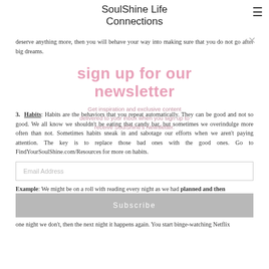SoulShine Life Connections
deserve anything more, then you will behave your way into making sure that you do not go after big dreams.
[Figure (other): Newsletter signup overlay with pink text reading 'sign up for our newsletter' and subtext 'Get inspiration and exclusive content delivered to your inbox when you sign up to receive SoulShine's Newsletter.']
3. Habits: Habits are the behaviors that you repeat automatically. They can be good and not so good. We all know we shouldn't be eating that candy bar, but sometimes we overindulge more often than not. Sometimes habits sneak in and sabotage our efforts when we aren't paying attention. The key is to replace those bad ones with the good ones. Go to FindYourSoulShine.com/Resources for more on habits.
Example: We might be on a roll with reading every night as we had planned and then one night we don't, then the next night it happens again. You start binge-watching Netflix